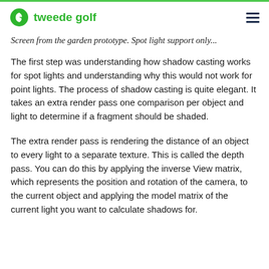tweede golf
Screen from the garden prototype. Spot light support only...
The first step was understanding how shadow casting works for spot lights and understanding why this would not work for point lights. The process of shadow casting is quite elegant. It takes an extra render pass one comparison per object and light to determine if a fragment should be shaded.
The extra render pass is rendering the distance of an object to every light to a separate texture. This is called the depth pass. You can do this by applying the inverse View matrix, which represents the position and rotation of the camera, to the current object and applying the model matrix of the current light you want to calculate shadows for.